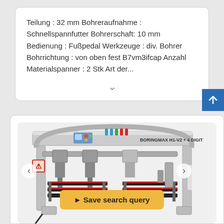Teilung : 32 mm Bohreraufnahme : Schnellspannfutter Bohrerschaft: 10 mm Bedienung : Fußpedal Werkzeuge : div. Bohrer Bohrrichtung : von oben fest B7vm3ifcap Anzahl Materialspanner : 2 Stk Art der...
[Figure (photo): Industrial boring machine BORINGMAX H1-V2 + 4 DIGIT with multiple drill heads, material clamps, and a control panel on top. The machine has a grey metal frame with an arched support structure.]